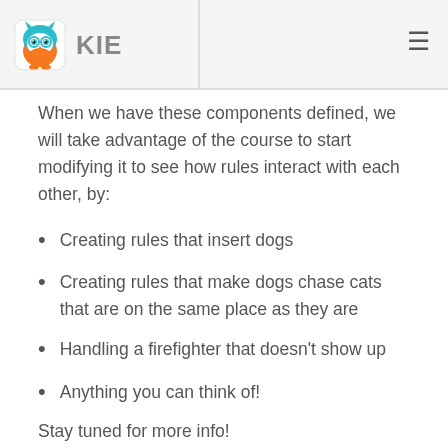KIE
When we have these components defined, we will take advantage of the course to start modifying it to see how rules interact with each other, by:
Creating rules that insert dogs
Creating rules that make dogs chase cats that are on the same place as they are
Handling a firefighter that doesn't show up
Anything you can think of!
Stay tuned for more info!